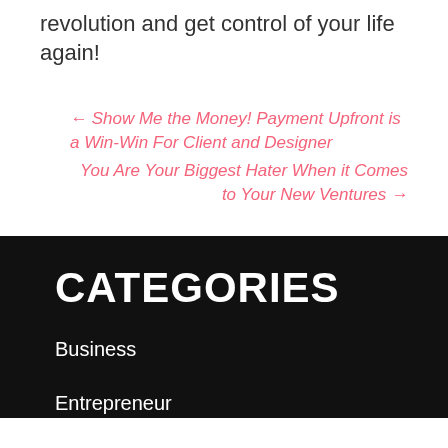revolution and get control of your life again!
← Show Me the Money! Payment Upfront is a Win-Win For Client and Designer
You Are Your Biggest Hater When it Comes to Your New Ventures →
CATEGORIES
Business
Entrepreneur